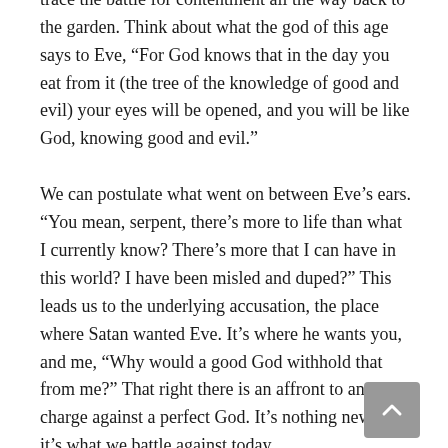that began long before you or I were born. You can trace the battle for contentment all the way back to the garden. Think about what the god of this age says to Eve, “For God knows that in the day you eat from it (the tree of the knowledge of good and evil) your eyes will be opened, and you will be like God, knowing good and evil.”
We can postulate what went on between Eve’s ears. “You mean, serpent, there’s more to life than what I currently know? There’s more that I can have in this world? I have been misled and duped?” This leads us to the underlying accusation, the place where Satan wanted Eve. It’s where he wants you, and me, “Why would a good God withhold that from me?” That right there is an affront to and a charge against a perfect God. It’s nothing new, and it’s what we battle against today.